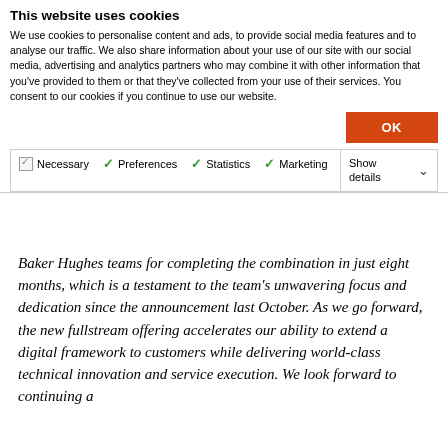This website uses cookies
We use cookies to personalise content and ads, to provide social media features and to analyse our traffic. We also share information about your use of our site with our social media, advertising and analytics partners who may combine it with other information that you've provided to them or that they've collected from your use of their services. You consent to our cookies if you continue to use our website.
OK
Necessary  Preferences  Statistics  Marketing  Show details
Baker Hughes teams for completing the combination in just eight months, which is a testament to the team's unwavering focus and dedication since the announcement last October. As we go forward, the new fullstream offering accelerates our ability to extend a digital framework to customers while delivering world-class technical innovation and service execution. We look forward to continuing a